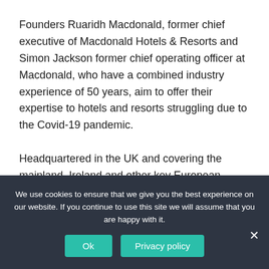Founders Ruaridh Macdonald, former chief executive of Macdonald Hotels & Resorts and Simon Jackson former chief operating officer at Macdonald, who have a combined industry experience of 50 years, aim to offer their expertise to hotels and resorts struggling due to the Covid-19 pandemic.
Headquartered in the UK and covering the mainland, Ireland and other key European locations, Trinity Hospitality Group aims to deliver performance-driven management contracts and develop owner-operator relationships, using its extensive multi-sector and multi-discipline network to
We use cookies to ensure that we give you the best experience on our website. If you continue to use this site we will assume that you are happy with it.